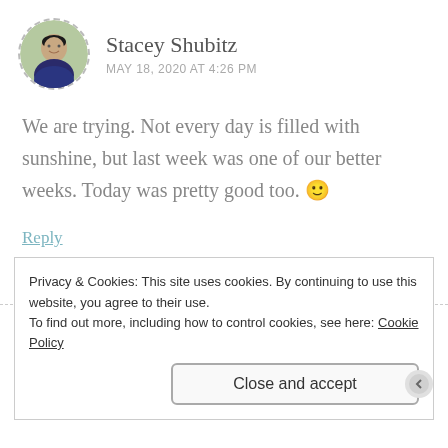[Figure (photo): Round avatar photo of Stacey Shubitz with dashed circular border]
Stacey Shubitz
MAY 18, 2020 AT 4:26 PM
We are trying. Not every day is filled with sunshine, but last week was one of our better weeks. Today was pretty good too. 🙂
Reply
Privacy & Cookies: This site uses cookies. By continuing to use this website, you agree to their use.
To find out more, including how to control cookies, see here: Cookie Policy
Close and accept